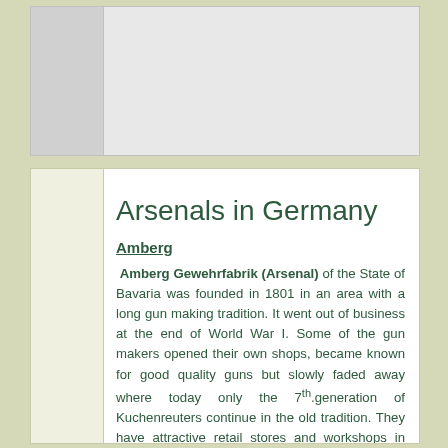[Figure (other): Top decorative panel with a lighter left strip and gray right area, likely a header image placeholder]
Arsenals in Germany
Amberg
Amberg Gewehrfabrik (Arsenal) of the State of Bavaria was founded in 1801 in an area with a long gun making tradition. It went out of business at the end of World War I. Some of the gun makers opened their own shops, became known for good quality guns but slowly faded away where today only the 7th generation of Kuchenreuters continue in the old tradition. They have attractive retail stores and workshops in Cham, where the family history can be seen in their family museum. In their shop they build fine custom rifles, including reproductions of the